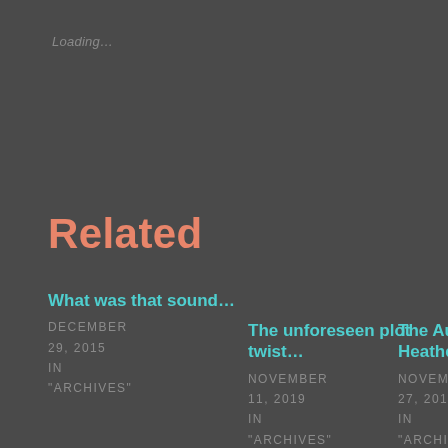Loading…
Related
What was that sound…
DECEMBER 29, 2015
IN
"ARCHIVES"
The unforeseen plot twist…
NOVEMBER 11, 2019
IN
"ARCHIVES"
The Autumn of Heather…
NOVEMBER 27, 2017
IN
"ARCHIVES"